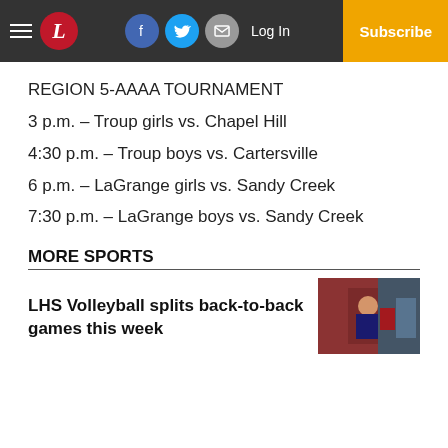L | Log In | Subscribe
REGION 5-AAAA TOURNAMENT
3 p.m. – Troup girls vs. Chapel Hill
4:30 p.m. – Troup boys vs. Cartersville
6 p.m. – LaGrange girls vs. Sandy Creek
7:30 p.m. – LaGrange boys vs. Sandy Creek
MORE SPORTS
LHS Volleyball splits back-to-back games this week
[Figure (photo): Photo of a woman at a volleyball event, seated courtside]